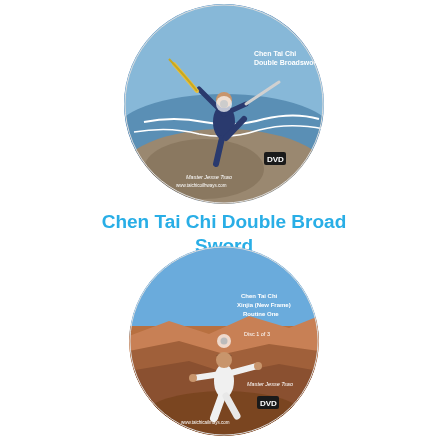[Figure (photo): Circular DVD disc showing a martial artist in dark blue outfit performing Chen Tai Chi Double Broadsword at a rocky beach, holding two broadswords aloft. Text on disc: 'Chen Tai Chi Double Broadsword', 'Master Jesse Tsao', 'www.taichicoilhways.com', DVD logo.]
Chen Tai Chi Double Broad Sword
[Figure (photo): Circular DVD disc showing a martial artist in white outfit performing Chen Tai Chi at the Grand Canyon. Text on disc: 'Chen Tai Chi Xinjia (New Frame) Routine One', 'Disc 1 of 3', 'Master Jesse Tsao', 'www.taichicailmays.com', DVD logo.]